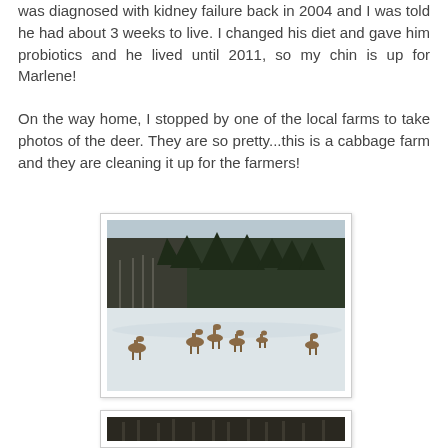was diagnosed with kidney failure back in 2004 and I was told he had about 3 weeks to live. I changed his diet and gave him probiotics and he lived until 2011, so my chin is up for Marlene!
On the way home, I stopped by one of the local farms to take photos of the deer. They are so pretty...this is a cabbage farm and they are cleaning it up for the farmers!
[Figure (photo): Deer standing in a snowy field in front of a dense forest of pine and birch trees. Several deer are visible across the snow-covered ground.]
[Figure (photo): Partial view of a second photo showing dark forest trees, cropped at the bottom of the page.]